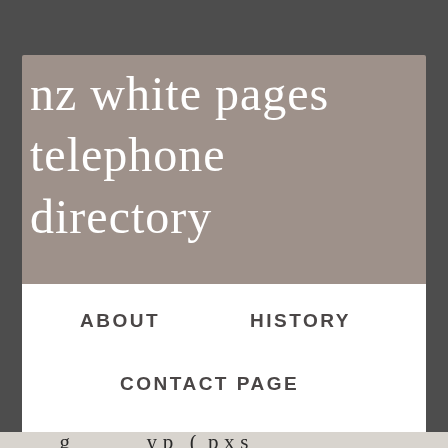nz white pages telephone directory
ABOUT
HISTORY
CONTACT PAGE
s.parentNode.insertBefore(gcse, s); Find a Business in New Zealand Yellow Pages (finda.co.nz). The latest available copies of all New Zealand telephone books are on the shelf at the Central Library on the 1st Floor.